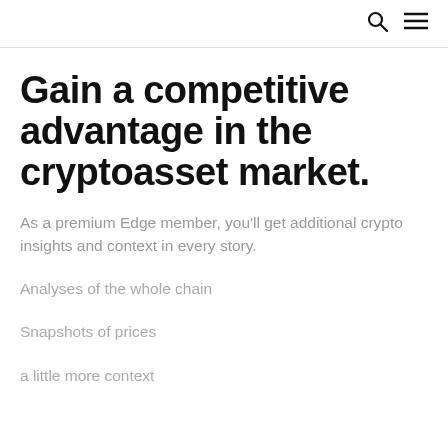🔍 ≡
Gain a competitive advantage in the cryptoasset market.
As a premium Edge member, you'll get additional crypto insights and context in every story.
Analyses of the whole chain
Snapshots of prices
a little more context